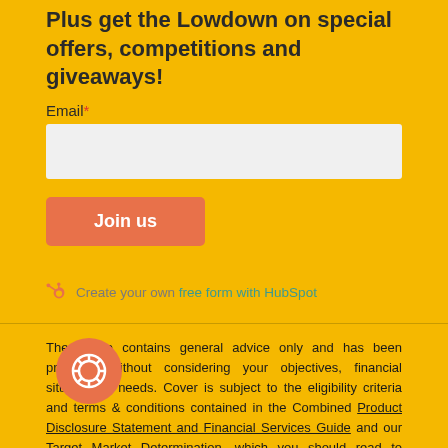Plus get the Lowdown on special offers, competitions and giveaways!
Email*
[Figure (other): Email input field (empty text box)]
[Figure (other): Join us button (coral/salmon colored button)]
Create your own free form with HubSpot
The above contains general advice only and has been prepared without considering your objectives, financial situation or needs. Cover is subject to the eligibility criteria and terms & conditions contained in the Combined Product Disclosure Statement and Financial Services Guide and our Target Market Determination, which you should read to decide whether this insurance product suits your needs. Insurance is issued by Agile Underwriting Services Pty Limited (ABN 48 607 908 243, AFSL 483374) Coverholder at